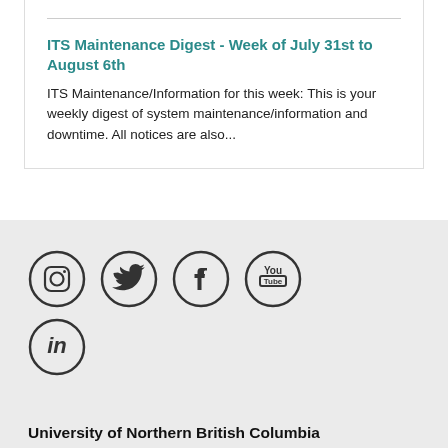ITS Maintenance Digest - Week of July 31st to August 6th
ITS Maintenance/Information for this week: This is your weekly digest of system maintenance/information and downtime. All notices are also...
[Figure (illustration): Row of social media icons in circles: Instagram, Twitter, Facebook, YouTube, and LinkedIn]
University of Northern British Columbia